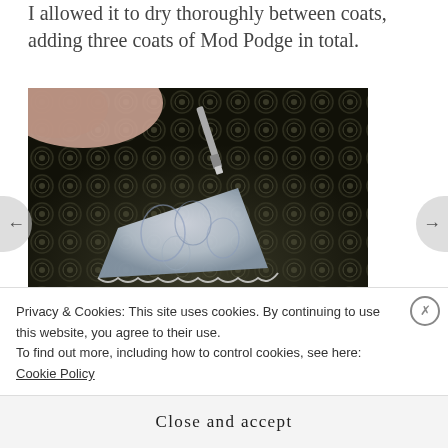I allowed it to dry thoroughly between coats, adding three coats of Mod Podge in total.
[Figure (photo): A hand holding a brush applying Mod Podge to a decorative lampshade with blue damask pattern, resting on a dark ornate patterned surface.]
Once the shade was completely dry, I carefully trimmed
Privacy & Cookies: This site uses cookies. By continuing to use this website, you agree to their use.
To find out more, including how to control cookies, see here: Cookie Policy
Close and accept